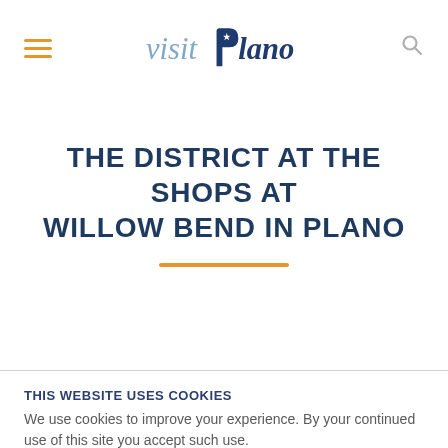visit Plano (logo with hamburger menu and search icon)
THE DISTRICT AT THE SHOPS AT WILLOW BEND IN PLANO
THIS WEBSITE USES COOKIES
We use cookies to improve your experience. By your continued use of this site you accept such use.